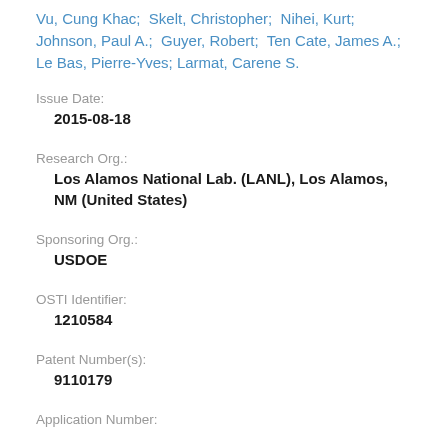Vu, Cung Khac; Skelt, Christopher; Nihei, Kurt; Johnson, Paul A.; Guyer, Robert; Ten Cate, James A.; Le Bas, Pierre-Yves; Larmat, Carene S.
Issue Date:
2015-08-18
Research Org.:
Los Alamos National Lab. (LANL), Los Alamos, NM (United States)
Sponsoring Org.:
USDOE
OSTI Identifier:
1210584
Patent Number(s):
9110179
Application Number: